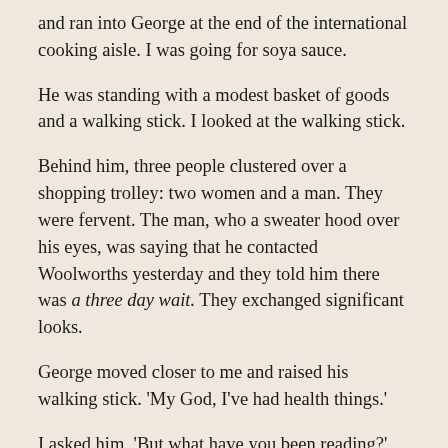and ran into George at the end of the international cooking aisle. I was going for soya sauce.
He was standing with a modest basket of goods and a walking stick. I looked at the walking stick.
Behind him, three people clustered over a shopping trolley: two women and a man. They were fervent. The man, who a sweater hood over his eyes, was saying that he contacted Woolworths yesterday and they told him there was a three day wait. They exchanged significant looks.
George moved closer to me and raised his walking stick. 'My God, I've had health things.'
I asked him, 'But what have you been reading?'
He said, 'Barbara Kingsolver. A giant. And you?'